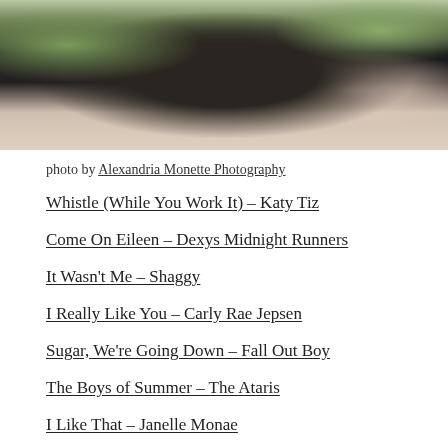[Figure (photo): Wedding photo showing a person in a white jacket and black pants holding a bouquet of flowers with greenery, standing outdoors]
photo by Alexandria Monette Photography
Whistle (While You Work It) – Katy Tiz
Come On Eileen – Dexys Midnight Runners
It Wasn't Me – Shaggy
I Really Like You – Carly Rae Jepsen
Sugar, We're Going Down – Fall Out Boy
The Boys of Summer – The Ataris
I Like That – Janelle Monae